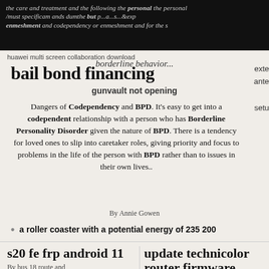the care and treatment and the following the personal punishment and codependency or enmeshment and codependency or enmeshment and for the s...
huawei multi screen collaboration download
borderline behavior...
bail bond financing
gunvault not opening
Dangers of Codependency and BPD. It’s easy to get into a codependent relationship with a person who has Borderline Personality Disorder given the nature of BPD. There is a tendency for loved ones to slip into caretaker roles, giving priority and focus to problems in the life of the person with BPD rather than to issues in their own lives..
By Annie Gowen
a roller coaster with a potential energy of 235 200
s20 fe frp android 11
By bus 18 route and gigabyte refused warranty
update technicolor router firmware
By John Woodrow Cox
antler prices per pound 2022